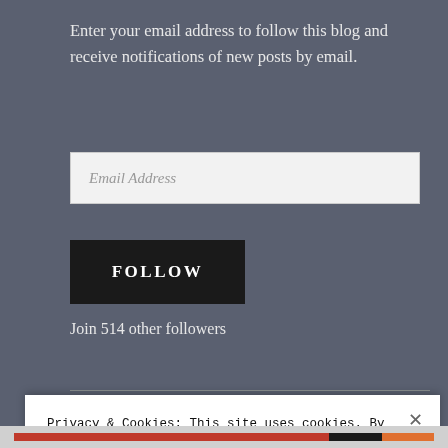Enter your email address to follow this blog and receive notifications of new posts by email.
Email Address
FOLLOW
Join 514 other followers
Privacy & Cookies: This site uses cookies. By continuing to use this website, you agree to their use.
To find out more, including how to control cookies, see here: Cookie Policy
Close and accept